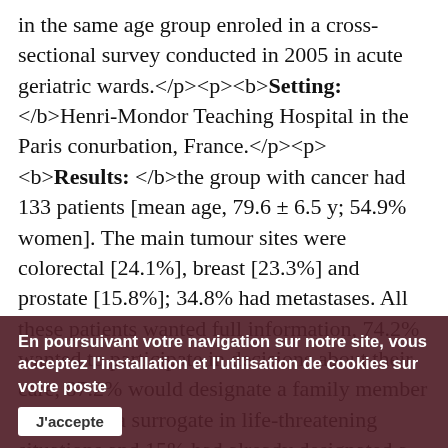in the same age group enroled in a cross-sectional survey conducted in 2005 in acute geriatric wards.</p><p><b>Setting: </b>Henri-Mondor Teaching Hospital in the Paris conurbation, France.</p><p><b>Results: </b>the group with cancer had 133 patients [mean age, 79.6 ± 6.5 y; 54.9% women]. The main tumour sites were colorectal [24.1%], breast [23.3%] and prostate [15.8%]; 34.8% had metastases. All these patients wanted full information, 74.2% wanted to participate in decisions about their care, 87.2% would designate a family member to serve as a surrogate in life-threatening situations and 15% had already designated a surrogate. Compared to patients without cancer, those with cancer more often wanted to receive information in a life-threatening situation [93.6% versus 79.2%; P < 0.001]. The patients wanting their morphine consumption to be obtained for all interventions were having
En poursuivant votre navigation sur notre site, vous acceptez l'installation et l'utilisation de cookies sur votre poste